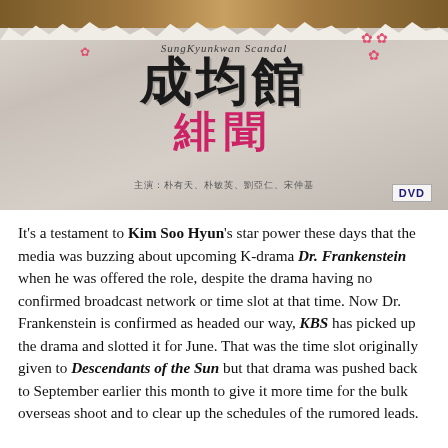[Figure (illustration): DVD cover for Korean drama 'Sungkyunkwan Scandal' showing Chinese characters 成均館 in black and 緋聞 in pink/magenta, with decorative cherry blossom elements, a ragged paper edge design, and cast credits in Chinese at the bottom. DVD label in bottom right corner.]
It's a testament to Kim Soo Hyun's star power these days that the media was buzzing about upcoming K-drama Dr. Frankenstein when he was offered the role, despite the drama having no confirmed broadcast network or time slot at that time. Now Dr. Frankenstein is confirmed as headed our way, KBS has picked up the drama and slotted it for June. That was the time slot originally given to Descendants of the Sun but that drama was pushed back to September earlier this month to give it more time for the bulk overseas shoot and to clear up the schedules of the rumored leads.